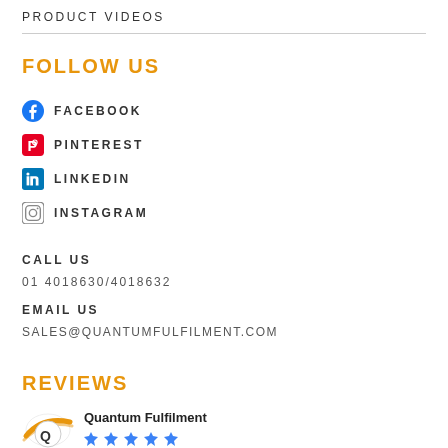PRODUCT VIDEOS
FOLLOW US
FACEBOOK
PINTEREST
LINKEDIN
INSTAGRAM
CALL US
01 4018630/4018632
EMAIL US
SALES@QUANTUMFULFILMENT.COM
REVIEWS
[Figure (logo): Quantum Fulfilment company logo]
Quantum Fulfilment